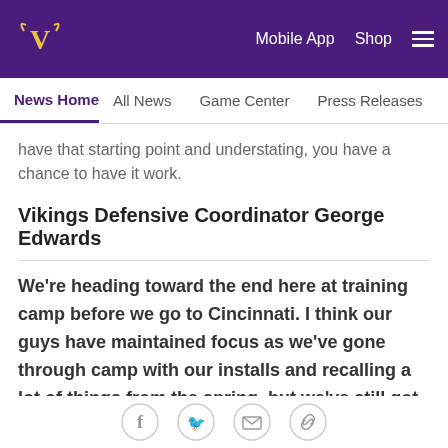Minnesota Vikings website header with logo, Mobile App, Shop, and hamburger menu
News Home | All News | Game Center | Press Releases | TCO Per
have that starting point and understating, you have a chance to have it work.
Vikings Defensive Coordinator George Edwards
We're heading toward the end here at training camp before we go to Cincinnati. I think our guys have maintained focus as we've gone through camp with our installs and recalling a lot of things from the spring, but we've still got a lot of work to do. And now as we start competing against other teams, to see them do it from week to week and be able to
Social share icons: Facebook, Twitter, Email, Link